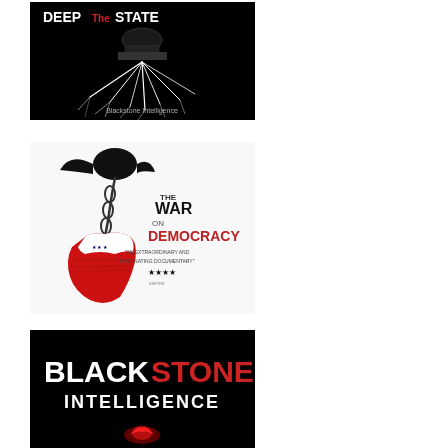[Figure (illustration): Thumbnail image: 'The Deep State' by Blackstone Intelligence. Black background with white title text 'DEEP The STATE', an image of the US Capitol building with white lightning/root-like tendrils extending downward, and 'Blackstone Intelligence' text at bottom.]
[Figure (illustration): Thumbnail image: 'The War on Democracy' documentary poster. White background with a chained eagle silhouette over an American flag map of the Americas. Text reads 'THE WAR ON DEMOCRACY' and quote 'An extraordinary and fascinating documentary' with 4 stars.]
[Figure (illustration): Thumbnail image: Blackstone Intelligence logo. Black background with 'BLACK' in white bold text and 'STONE' in red bold text, below 'INTELLIGENCE' in white, with a red glowing symbol at the bottom.]